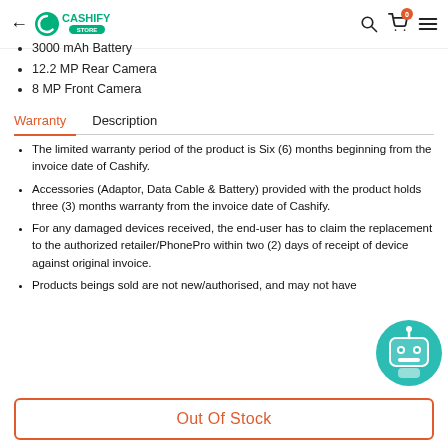Cashify Store
3000 mAh Battery
12.2 MP Rear Camera
8 MP Front Camera
Warranty | Description
The limited warranty period of the product is Six (6) months beginning from the invoice date of Cashify.
Accessories (Adaptor, Data Cable & Battery) provided with the product holds three (3) months warranty from the invoice date of Cashify.
For any damaged devices received, the end-user has to claim the replacement to the authorized retailer/PhonePro within two (2) days of receipt of device against original invoice.
Products beings sold are not new/authorised, and may not have
Out Of Stock